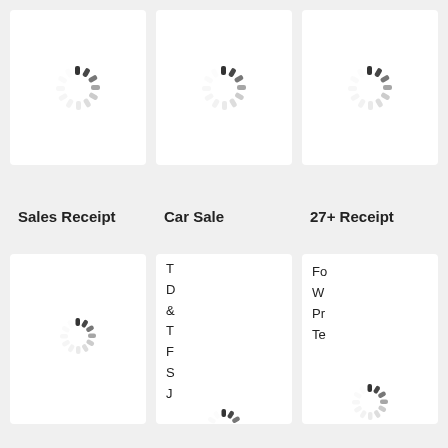[Figure (illustration): Loading spinner icon top-left card]
[Figure (illustration): Loading spinner icon top-center card]
[Figure (illustration): Loading spinner icon top-right card]
Sales Receipt
Car Sale
27+ Receipt
[Figure (illustration): Loading spinner icon bottom-left card]
F
T
D
&
T
F
S
J
Fo
W
Pr
Te
[Figure (illustration): Loading spinner icon bottom-center card]
[Figure (illustration): Loading spinner icon bottom-right card]